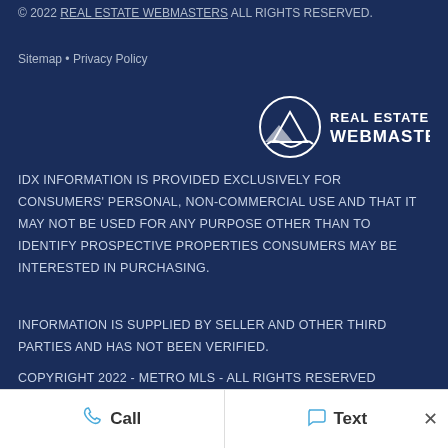© 2022 REAL ESTATE WEBMASTERS ALL RIGHTS RESERVED.
Sitemap • Privacy Policy
[Figure (logo): Real Estate Webmasters logo — circular mountain/wave icon with text REAL ESTATE WEBMASTERS in white]
IDX INFORMATION IS PROVIDED EXCLUSIVELY FOR CONSUMERS' PERSONAL, NON-COMMERCIAL USE AND THAT IT MAY NOT BE USED FOR ANY PURPOSE OTHER THAN TO IDENTIFY PROSPECTIVE PROPERTIES CONSUMERS MAY BE INTERESTED IN PURCHASING.
INFORMATION IS SUPPLIED BY SELLER AND OTHER THIRD PARTIES AND HAS NOT BEEN VERIFIED.
COPYRIGHT 2022 - METRO MLS - ALL RIGHTS RESERVED
Call   Text